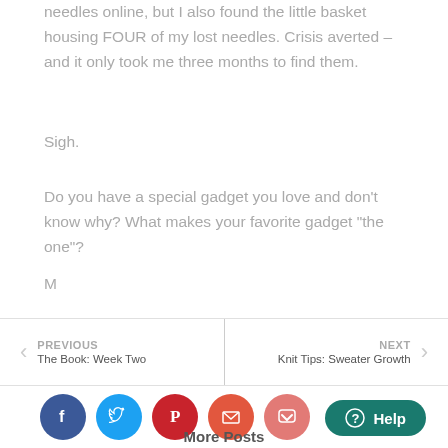needles online, but I also found the little basket housing FOUR of my lost needles. Crisis averted – and it only took me three months to find them.
Sigh.
Do you have a special gadget you love and don't know why? What makes your favorite gadget “the one”?
M
PREVIOUS
The Book: Week Two
NEXT
Knit Tips: Sweater Growth
[Figure (infographic): Social sharing buttons: Facebook (dark blue), Twitter (light blue), Pinterest (dark red), Email (orange-red), Pocket (salmon/pink)]
Help
More Posts